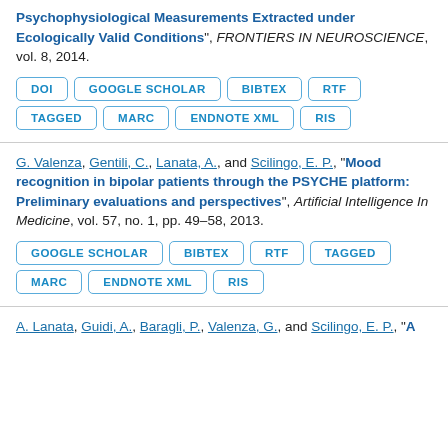Psychophysiological Measurements Extracted under Ecologically Valid Conditions", FRONTIERS IN NEUROSCIENCE, vol. 8, 2014.
DOI
GOOGLE SCHOLAR
BIBTEX
RTF
TAGGED
MARC
ENDNOTE XML
RIS
G. Valenza, Gentili, C., Lanata, A., and Scilingo, E. P., "Mood recognition in bipolar patients through the PSYCHE platform: Preliminary evaluations and perspectives", Artificial Intelligence In Medicine, vol. 57, no. 1, pp. 49–58, 2013.
GOOGLE SCHOLAR
BIBTEX
RTF
TAGGED
MARC
ENDNOTE XML
RIS
A. Lanata, Guidi, A., Baragli, P., Valenza, G., and Scilingo, E. P., "A ...